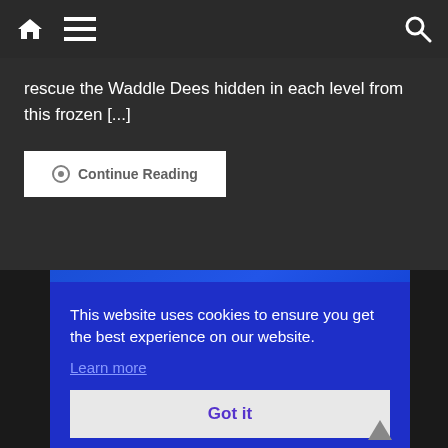Navigation bar with home icon, menu icon, and search icon
rescue the Waddle Dees hidden in each level from this frozen [...]
Continue Reading
[Figure (screenshot): Blue image with large '2020' watermark and a cookie consent banner overlay reading: 'This website uses cookies to ensure you get the best experience on our website. Learn more' and a 'Got it' button. A scroll-to-top arrow is visible at the bottom right.]